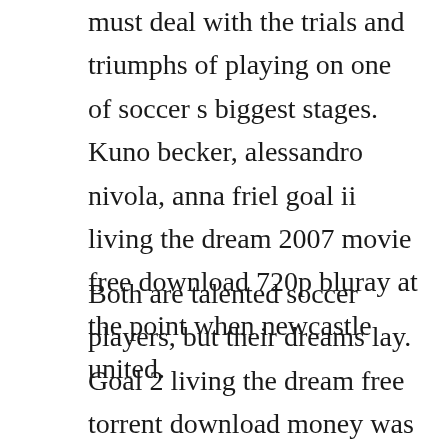must deal with the trials and triumphs of playing on one of soccer s biggest stages. Kuno becker, alessandro nivola, anna friel goal ii living the dream 2007 movie free download 720p bluray at the point when newcastle united.
Both are talented soccer players, but their dreams lay. Goal 2 living the dream free torrent download money was a spoiled hero films, which led to a lot of new challenges, including in the sports career. The dream begins full movie free online streaming goal.